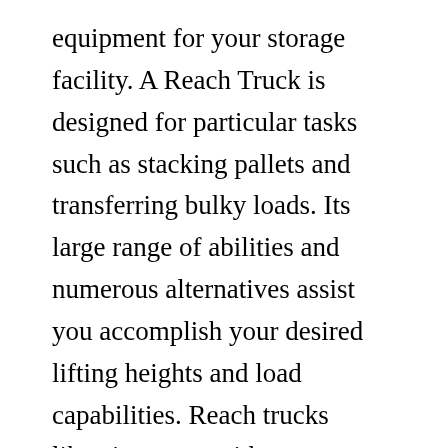equipment for your storage facility. A Reach Truck is designed for particular tasks such as stacking pallets and transferring bulky loads. Its large range of abilities and numerous alternatives assist you accomplish your desired lifting heights and load capabilities. Reach trucks likewise come with an extensive list of optional devices. A few of these features include a draft shield door and seat heating.
The most recent technology in reach trucks permits easy and effective picking and